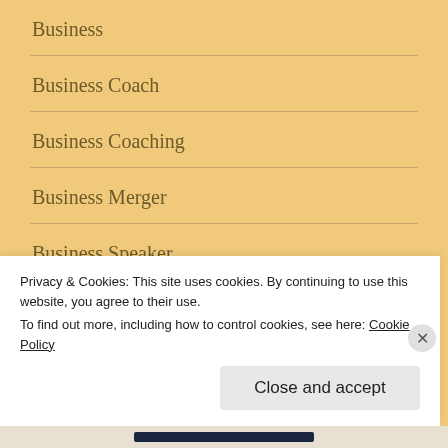Business
Business Coach
Business Coaching
Business Merger
Business Speaker
Business Strategies
Privacy & Cookies: This site uses cookies. By continuing to use this website, you agree to their use.
To find out more, including how to control cookies, see here: Cookie Policy
Close and accept